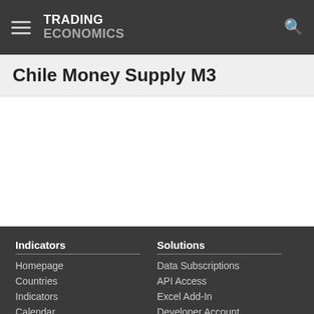TRADING ECONOMICS
Chile Money Supply M3
Indicators
Homepage
Countries
Indicators
Calendar
Forecasts
Ratings
Solutions
Data Subscriptions
API Access
Excel Add-In
Developer Account
Documentation
Pricing
About Us
Customers
Follow Us
Twitter